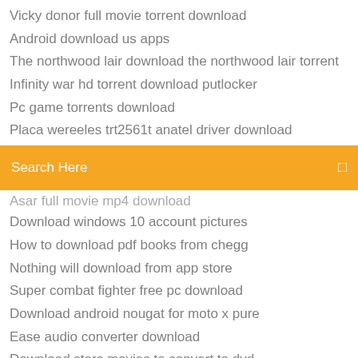Vicky donor full movie torrent download
Android download us apps
The northwood lair download the northwood lair torrent
Infinity war hd torrent download putlocker
Pc game torrents download
Placa wereeles trt2561t anatel driver download
[Figure (screenshot): Search bar with orange background and 'Search Here' placeholder text]
Asar full movie mp4 download
Download windows 10 account pictures
How to download pdf books from chegg
Nothing will download from app store
Super combat fighter free pc download
Download android nougat for moto x pure
Ease audio converter download
Download stars movies to convert to dvd
Strength training anatomy pdf free download
Great pc programs to download
Factorio single download for bobs mods